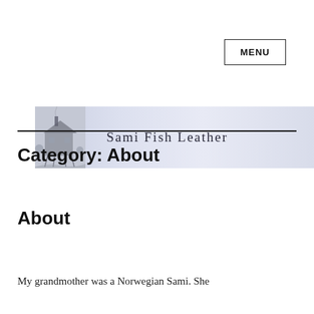MENU
[Figure (illustration): Banner image for 'Sami Fish Leather' website showing a sketch of a log building on stilts on the left, and the text 'Sami Fish Leather' in serif font on a light lavender-grey gradient background.]
Category: About
About
My grandmother was a Norwegian Sami. She